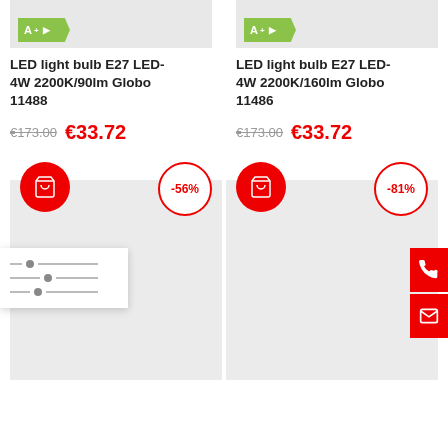[Figure (screenshot): Two product listing cards for LED light bulbs side by side. Left: LED light bulb E27 LED-4W 2200K/90lm Globo 11488, old price €173.00, new price €33.72, -56% discount badge. Right: LED light bulb E27 LED-4W 2200K/160lm Globo 11486, old price €173.00, new price €33.72, -81% discount badge. A filter popup panel is visible on the left side and phone/email action buttons on the right.]